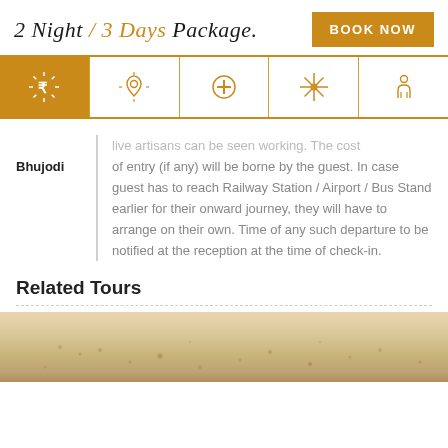2 Night / 3 Days Package.
BOOK NOW
[Figure (infographic): Icon navigation bar with 5 icons: rupee/price icon (active, gold background), location pin icon, medical cross/plus icon, star/sparkle icon, and person/guide icon]
Bhujodi
live artisans can be seen working. The cost of entry (if any) will be borne by the guest. In case guest has to reach Railway Station / Airport / Bus Stand earlier for their onward journey, they will have to arrange on their own. Time of any such departure to be notified at the reception at the time of check-in.
Related Tours
[Figure (photo): Desert landscape with sandy terrain, light beige/tan colored sand dunes visible at the bottom of the page]